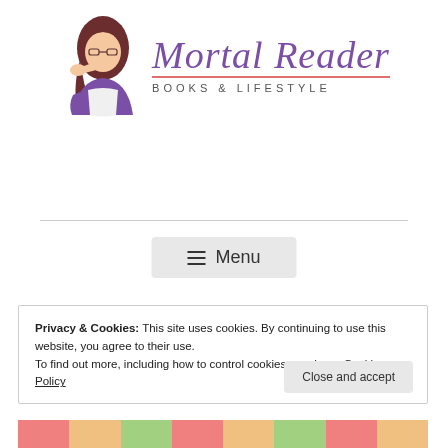[Figure (logo): Mortal Reader logo: illustrated woman with dark hair leaning on her hand, wearing purple outfit, next to cursive purple text 'Mortal Reader' with a pink underline and 'BOOKS & LIFESTYLE' in small caps below]
≡ Menu
Privacy & Cookies: This site uses cookies. By continuing to use this website, you agree to their use.
To find out more, including how to control cookies, see here: Cookie Policy
Close and accept